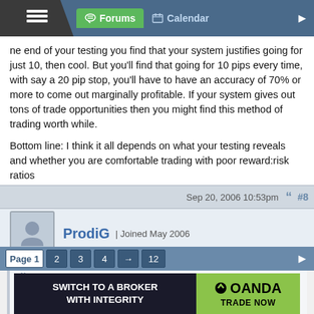Forums | Calendar
ne end of your testing you find that your system justifies going for just 10, then cool. But you'll find that going for 10 pips every time, with say a 20 pip stop, you'll have to have an accuracy of 70% or more to come out marginally profitable. If your system gives out tons of trade opportunities then you might find this method of trading worth while.
Bottom line: I think it all depends on what your testing reveals and whether you are comfortable trading with poor reward:risk ratios
Sep 20, 2006 10:53pm  #8
ProdiG | Joined May 2006
Quoting minute
I think this has already been mentioned above, but with a 10 pip trade it puzzles me how you can factor in a risk reward ratio.
Page 1  2  3  4  →  12
[Figure (other): OANDA advertisement banner: SWITCH TO A BROKER WITH INTEGRITY | OANDA TRADE NOW]